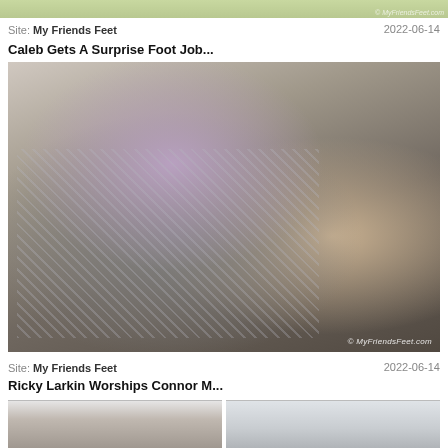[Figure (photo): Top cropped portion of a photo with greenish background and watermark text]
Site: My Friends Feet    2022-06-14
Caleb Gets A Surprise Foot Job...
[Figure (photo): Photo showing two men on a bed, one lying back in a pink shirt and gray pants, the other kneeling and attending to his feet. Watermark: © MyFriendsFeet.com]
Site: My Friends Feet    2022-06-14
Ricky Larkin Worships Connor M...
[Figure (photo): Partial view of two side-by-side photos at bottom of page showing people in indoor settings]